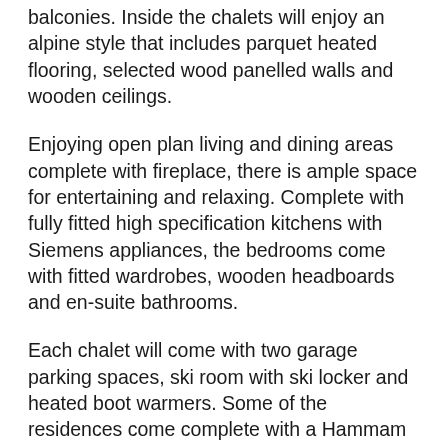balconies. Inside the chalets will enjoy an alpine style that includes parquet heated flooring, selected wood panelled walls and wooden ceilings.
Enjoying open plan living and dining areas complete with fireplace, there is ample space for entertaining and relaxing. Complete with fully fitted high specification kitchens with Siemens appliances, the bedrooms come with fitted wardrobes, wooden headboards and en-suite bathrooms.
Each chalet will come with two garage parking spaces, ski room with ski locker and heated boot warmers. Some of the residences come complete with a Hammam and for those that want to add one this can be discussed.
*For the photos shown of finished properties these represent examples of previous projects completed by the developer.
Being brand new, for those that want to rent when not using their property (no rental obligation), there is the possibilty to reclaim the VAT of 20% off the